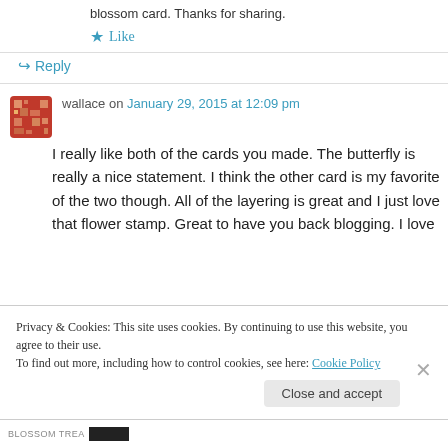blossom card. Thanks for sharing.
★ Like
↪ Reply
wallace on January 29, 2015 at 12:09 pm
I really like both of the cards you made. The butterfly is really a nice statement. I think the other card is my favorite of the two though. All of the layering is great and I just love that flower stamp. Great to have you back blogging. I love
Privacy & Cookies: This site uses cookies. By continuing to use this website, you agree to their use.
To find out more, including how to control cookies, see here: Cookie Policy
Close and accept